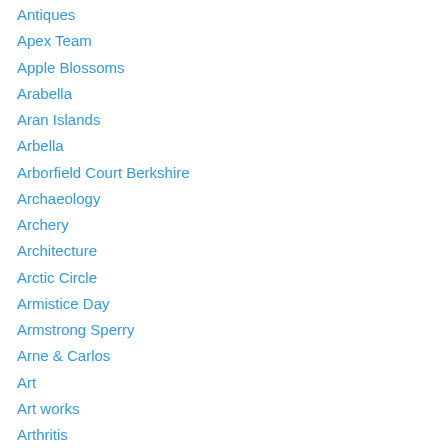Antiques
Apex Team
Apple Blossoms
Arabella
Aran Islands
Arbella
Arborfield Court Berkshire
Archaeology
Archery
Architecture
Arctic Circle
Armistice Day
Armstrong Sperry
Arne & Carlos
Art
Art works
Arthritis
Artists
Assiniboine River
Astronomy